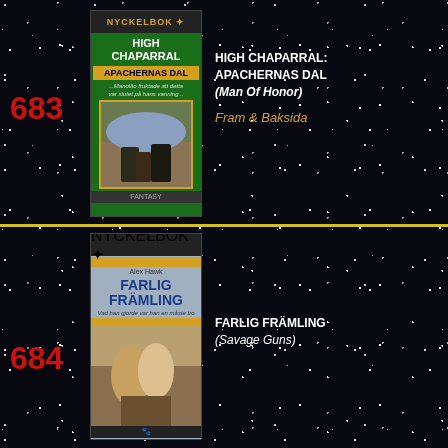683
[Figure (photo): Book cover: Nyckelbok - High Chaparral: Apachernas Dal, green cover with western scene]
HIGH CHAPARRAL: APACHERNAS DAL (Man Of Honor)
Fram & Baksida
684
[Figure (photo): Book cover: Nyckelbok - Farlig Framling (Savage Guns), cover showing two figures]
FARLIG FRÄMLING (Savage Guns)